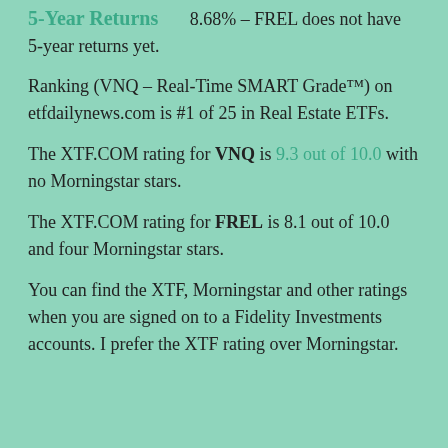5-Year Returns
8.68% – FREL does not have 5-year returns yet.
Ranking (VNQ – Real-Time SMART Grade™) on etfdailynews.com is #1 of 25 in Real Estate ETFs.
The XTF.COM rating for VNQ is 9.3 out of 10.0 with no Morningstar stars.
The XTF.COM rating for FREL is 8.1 out of 10.0 and four Morningstar stars.
You can find the XTF, Morningstar and other ratings when you are signed on to a Fidelity Investments accounts. I prefer the XTF rating over Morningstar.